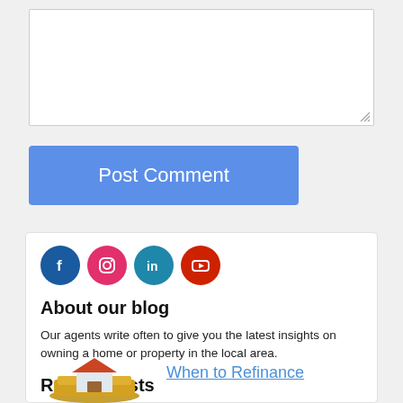[Figure (screenshot): Text area input box with resize handle in bottom-right corner]
Post Comment
[Figure (infographic): Row of four social media icons: Facebook (dark blue), Instagram (pink/magenta), LinkedIn (teal/blue), YouTube (red)]
About our blog
Our agents write often to give you the latest insights on owning a home or property in the local area.
Recent Posts
[Figure (photo): Small illustration of a house model sitting on top of stacked money/cash]
When to Refinance